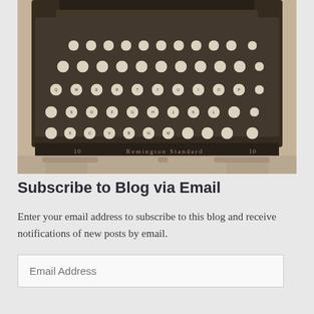[Figure (photo): Sepia-toned photograph of a vintage Remington Standard 10 typewriter viewed from above, showing the keyboard with round keys and the typehead mechanism on a wooden surface.]
Subscribe to Blog via Email
Enter your email address to subscribe to this blog and receive notifications of new posts by email.
Email Address